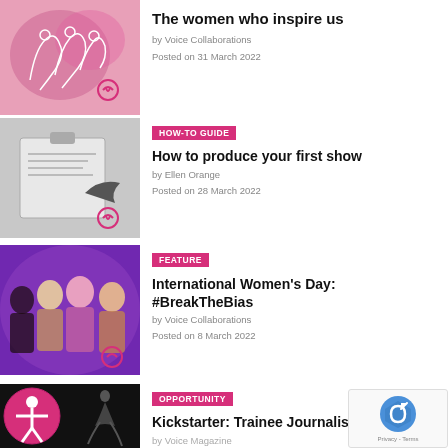[Figure (photo): Pink abstract illustration with white outlined figures]
The women who inspire us
by Voice Collaborations
Posted on 31 March 2022
[Figure (photo): Black and white photo of a clipboard with papers and a dark bird silhouette]
HOW-TO GUIDE
How to produce your first show
by Ellen Orange
Posted on 28 March 2022
[Figure (photo): Group photo of four women on purple background]
FEATURE
International Women's Day: #BreakTheBias
by Voice Collaborations
Posted on 8 March 2022
[Figure (photo): Dark photo with accessibility icon (person in circle) and a dancer silhouette]
OPPORTUNITY
Kickstarter: Trainee Journalist
by Voice Magazine